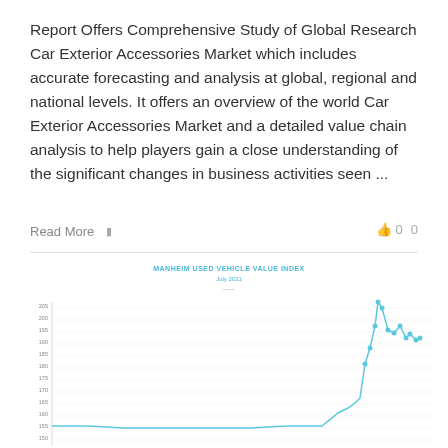Report Offers Comprehensive Study of Global Research Car Exterior Accessories Market which includes accurate forecasting and analysis at global, regional and national levels. It offers an overview of the world Car Exterior Accessories Market and a detailed value chain analysis to help players gain a close understanding of the significant changes in business activities seen ...
Read More
[Figure (line-chart): Line chart showing the Manheim Used Vehicle Value Index for July 2021, with y-axis values ranging approximately from 105 to 210+, showing a sharp spike upward in recent months.]